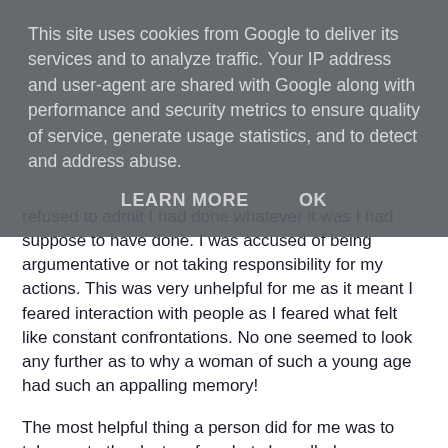This site uses cookies from Google to deliver its services and to analyze traffic. Your IP address and user-agent are shared with Google along with performance and security metrics to ensure quality of service, generate usage statistics, and to detect and address abuse.
LEARN MORE   OK
refused to admit I had done whatever it was I had suppose to have done. I was accused of being argumentative or not taking responsibility for my actions. This was very unhelpful for me as it meant I feared interaction with people as I feared what felt like constant confrontations. No one seemed to look any further as to why a woman of such a young age had such an appalling memory!
The most helpful thing a person did for me was to take me to the doctors for what she called my forgetfulness. Eventually this meant my behaviour was monitored on an in-patient basis and I was told what the problem was.  When the CPN, Psychiatrist and Psychologist told me I had DID I was relieved. I didn't know at the time what DID was but I was